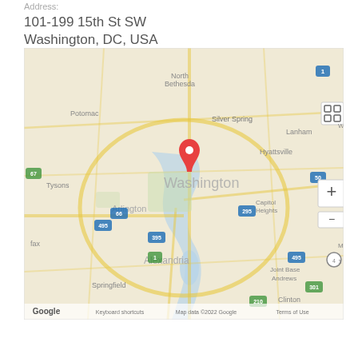Address:
101-199 15th St SW
Washington, DC, USA
[Figure (map): Google Maps screenshot showing Washington DC area with a red location pin over Washington. Surrounding areas visible include Bethesda, Silver Spring, Lanham, Hyattsville, Capitol Heights, Arlington, Alexandria, Springfield, Joint Base Andrews, Clinton, Tysons, Potomac. Map controls show zoom in/out and fullscreen buttons. Bottom shows 'Google', 'Keyboard shortcuts', 'Map data ©2022 Google', 'Terms of Use'.]